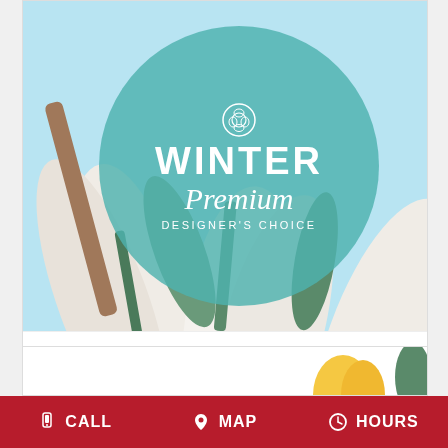[Figure (photo): Florist product card showing white tulips/winter flowers on light blue background with teal circle overlay reading WINTER Premium DESIGNER'S CHOICE with a white rose icon]
STUNNING WINTER FLORALS   $81.00
BUY NOW
[Figure (other): Info button - dark circle with white letter i]
[Figure (photo): Partial thumbnail of another floral product at bottom]
CALL   MAP   HOURS